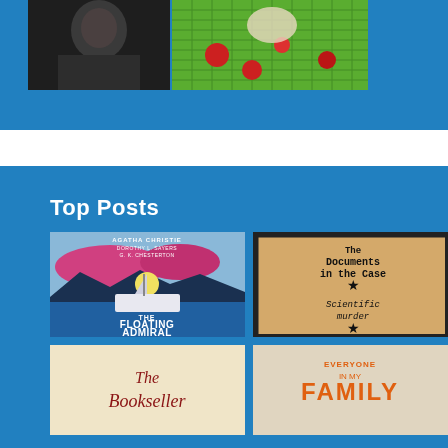[Figure (photo): Top blue banner section with two images: a dark photograph (portrait/figure) on the left and a game board image (green grid with red pieces) on the right]
[Figure (illustration): Bottom blue section titled 'Top Posts' showing a 2x2 grid of book covers: 'The Floating Admiral' by Agatha Christie, Dorothy L. Sayers, G. K. Chesterton; 'The Documents in the Case - Scientific murder'; 'The Bookseller'; 'Everyone in My Family']